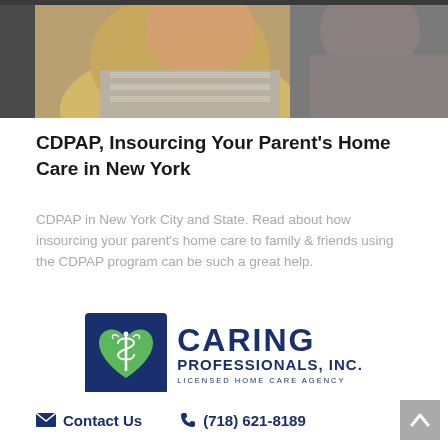[Figure (photo): Photo of an elderly woman in a yellow cardigan sitting beside a caregiver in a gray sweater, appearing to look at something together.]
CDPAP, Insourcing Your Parent's Home Care in New York
CDPAP in New York City and State. Read about how insourcing your parent's home care to family & friends using the CDPAP program can be such a great help.
[Figure (logo): Caring Professionals, Inc. logo — navy blue square with green heart containing a caduceus medical symbol, next to bold text reading CARING PROFESSIONALS, INC. LICENSED HOME CARE AGENCY]
✉ Contact Us   ✆ (718) 621-8189